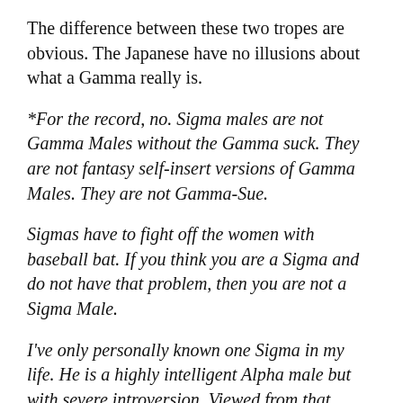The difference between these two tropes are obvious. The Japanese have no illusions about what a Gamma really is.
*For the record, no. Sigma males are not Gamma Males without the Gamma suck. They are not fantasy self-insert versions of Gamma Males. They are not Gamma-Sue.
Sigmas have to fight off the women with baseball bat. If you think you are a Sigma and do not have that problem, then you are not a Sigma Male.
I've only personally known one Sigma in my life. He is a highly intelligent Alpha male but with severe introversion. Viewed from that perspective the Sigma makes perfect sense. Everything else is